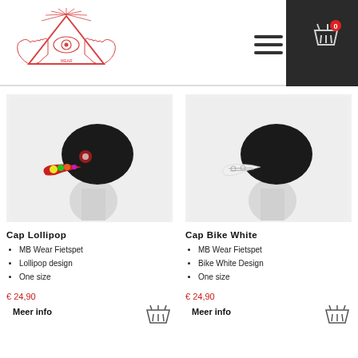[Figure (screenshot): Website header with red line-art illuminati/all-seeing-eye logo on left, hamburger menu icon in center-right, dark background panel on right with shopping cart icon and red badge showing '0']
[Figure (photo): Cap Lollipop product photo: cycling cap with colorful lollipop pattern on brim and black crown, displayed on a mannequin head on light grey background]
[Figure (photo): Cap Bike White product photo: cycling cap with white bicycle/pattern brim and black crown, displayed on a mannequin head on light grey background]
Cap Lollipop
Cap Bike White
MB Wear Fietspet
Lollipop design
One size
MB Wear Fietspet
Bike White Design
One size
€ 24,90
Meer info
€ 24,90
Meer info